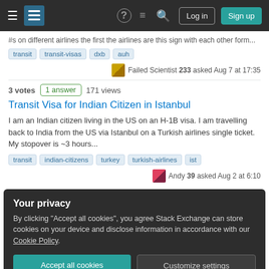Stack Exchange navigation bar with Log in and Sign up buttons
#s on different airlines the first the airlines are this sign with each other form...
transit   transit-visas   dxb   auh
Failed Scientist 233 asked Aug 7 at 17:35
3 votes   1 answer   171 views
Transit Visa for Indian Citizen in Istanbul
I am an Indian citizen living in the US on an H-1B visa. I am travelling back to India from the US via Istanbul on a Turkish airlines single ticket. My stopover is ~3 hours...
transit   indian-citizens   turkey   turkish-airlines   ist
Andy 39 asked Aug 2 at 6:10
Your privacy
By clicking "Accept all cookies", you agree Stack Exchange can store cookies on your device and disclose information in accordance with our Cookie Policy.
Accept all cookies   Customize settings